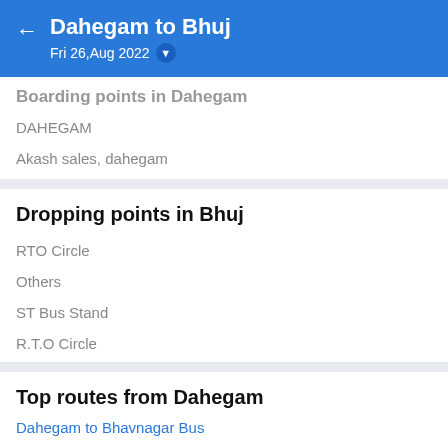Dahegam to Bhuj
Fri 26,Aug 2022
Boarding points in Dahegam
DAHEGAM
Akash sales, dahegam
Dropping points in Bhuj
RTO Circle
Others
ST Bus Stand
R.T.O Circle
Top routes from Dahegam
Dahegam to Bhavnagar Bus